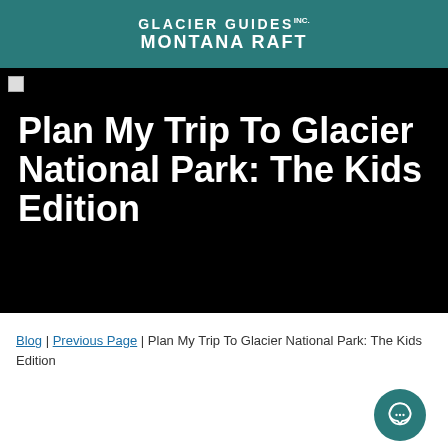Glacier Guides Inc. Montana Raft
[Figure (photo): Black hero image with bold white title text reading 'Plan My Trip To Glacier National Park: The Kids Edition']
Plan My Trip To Glacier National Park: The Kids Edition
Blog | Previous Page | Plan My Trip To Glacier National Park: The Kids Edition
Posted April 8, 2020 by Glacier Guides